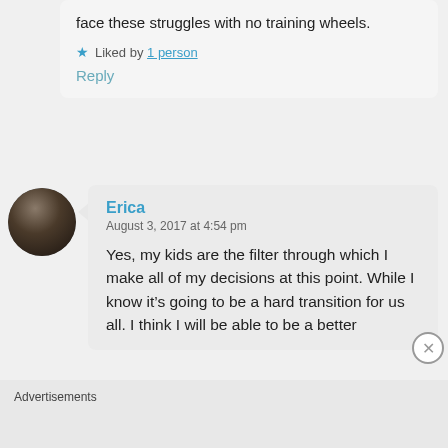face these struggles with no training wheels.
Liked by 1 person
Reply
[Figure (photo): Circular avatar photo of a person, dark tones]
Erica
August 3, 2017 at 4:54 pm
Yes, my kids are the filter through which I make all of my decisions at this point. While I know it’s going to be a hard transition for us all. I think I will be able to be a better
Advertisements